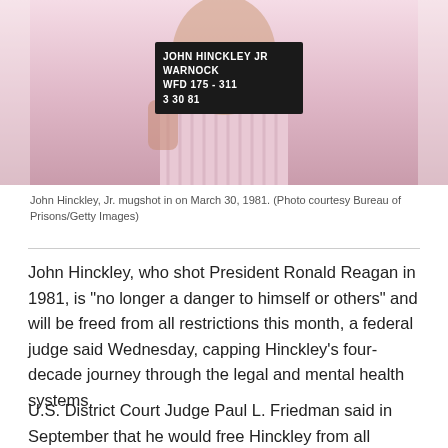[Figure (photo): Mugshot photo of John Hinckley Jr. holding a booking sign that reads: JOHN HINCKLEY JR / WARNOCK / WFD 175-311 / 3 30 81. The background is a pink/mauve tone.]
John Hinckley, Jr. mugshot in on March 30, 1981. (Photo courtesy Bureau of Prisons/Getty Images)
John Hinckley, who shot President Ronald Reagan in 1981, is "no longer a danger to himself or others" and will be freed from all restrictions this month, a federal judge said Wednesday, capping Hinckley's four-decade journey through the legal and mental health systems.
U.S. District Court Judge Paul L. Friedman said in September that he would free Hinckley from all remaining restrictions on June 15 as long as Hinckley